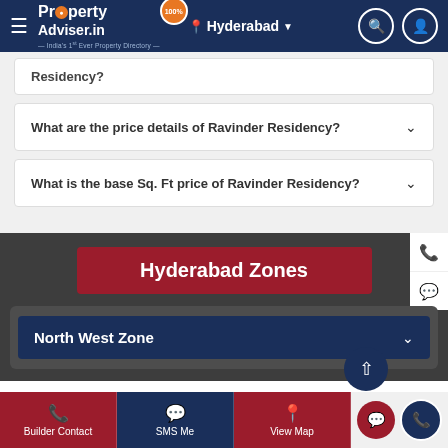PropertyAdviser.in — Hyderabad
Residency?
What are the price details of Ravinder Residency?
What is the base Sq. Ft price of Ravinder Residency?
Hyderabad Zones
North West Zone
Builder Contact | SMS Me | View Map